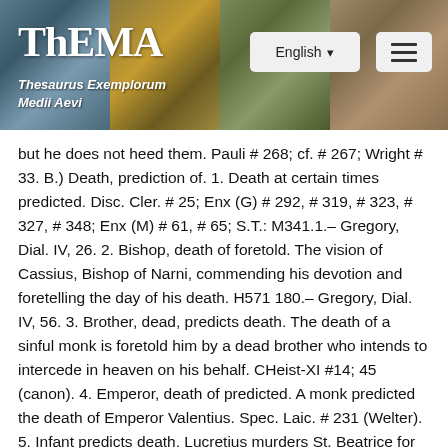ThEMA — Thesaurus Exemplorum Medii Aevi
but he does not heed them. Pauli # 268; cf. # 267; Wright # 33. B.) Death, prediction of. 1. Death at certain times predicted. Disc. Cler. # 25; Enx (G) # 292, # 319, # 323, # 327, # 348; Enx (M) # 61, # 65; S.T.: M341.1.– Gregory, Dial. IV, 26. 2. Bishop, death of foretold. The vision of Cassius, Bishop of Narni, commending his devotion and foretelling the day of his death. H571 180.– Gregory, Dial. IV, 56. 3. Brother, dead, predicts death. The death of a sinful monk is foretold him by a dead brother who intends to intercede in heaven on his behalf. CHeist-XI #14; 45 (canon). 4. Emperor, death of predicted. A monk predicted the death of Emperor Valentius. Spec. Laic. # 231 (Welter). 5. Infant predicts death. Lucretius murders St. Beatrice for her land. A infant foretells his death, and he is tormented and slain by a devil. H281 # 32. H310 # 32. 6. King, death